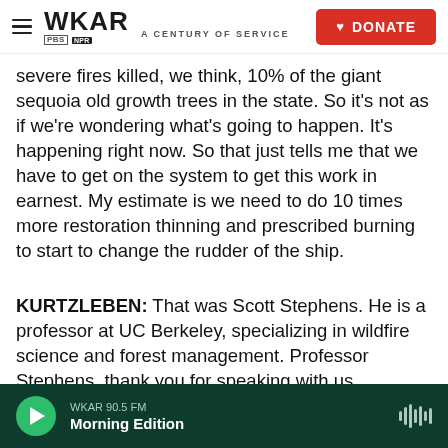WKAR A CENTURY OF SERVICE | DONATE
severe fires killed, we think, 10% of the giant sequoia old growth trees in the state. So it's not as if we're wondering what's going to happen. It's happening right now. So that just tells me that we have to get on the system to get this work in earnest. My estimate is we need to do 10 times more restoration thinning and prescribed burning to start to change the rudder of the ship.
KURTZLEBEN: That was Scott Stephens. He is a professor at UC Berkeley, specializing in wildfire science and forest management. Professor Stephens, thank you for speaking with us.
WKAR 90.5 FM Morning Edition